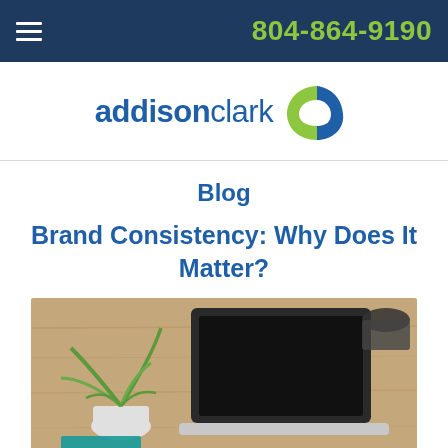804-864-9190
[Figure (logo): Addison Clark logo with blue and green circular icon]
Blog
Brand Consistency: Why Does It Matter?
[Figure (photo): Overhead view of a wooden desk with a laptop, a small potted plant, and a cup]